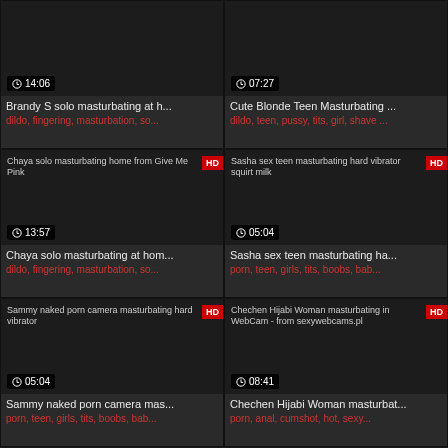[Figure (screenshot): Video thumbnail - dark, partially visible]
14:06
Brandy S solo masturbating at h...
dildo, fingering, masturbation, so...
[Figure (screenshot): Video thumbnail - dark, partially visible]
07:27
Cute Blonde Teen Masturbating ...
dildo, teen, pussy, tits, girl, shave ...
[Figure (screenshot): Video thumbnail for Chaya solo masturbating home from Give Me Pink - HD]
13:57
Chaya solo masturbating at hom...
dildo, fingering, masturbation, so...
[Figure (screenshot): Video thumbnail for Sasha sex teen masturbating hard vibrator squirt milk - HD]
05:04
Sasha sex teen masturbating ha...
porn, teen, girls, tits, boobs, bab...
[Figure (screenshot): Video thumbnail for Sammy naked porn camera masturbating hard vibrator - HD]
05:04
Sammy naked porn camera mas...
porn, teen, girls, tits, boobs, bab...
[Figure (screenshot): Video thumbnail for Chechen Hijabi Woman masturbating in WebCam - from sexywebcams.pl - HD]
08:41
Chechen Hijabi Woman masturbating in WebCam - from sexywebcams.pl
Chechen Hijabi Woman masturbat...
porn, anal, cumshot, hot, sexy...